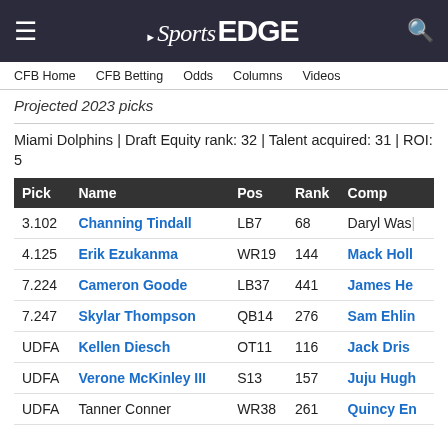NBC Sports EDGE
CFB Home   CFB Betting   Odds   Columns   Videos
Projected 2023 picks
Miami Dolphins | Draft Equity rank: 32 | Talent acquired: 31 | ROI: 5
| Pick | Name | Pos | Rank | Comp |
| --- | --- | --- | --- | --- |
| 3.102 | Channing Tindall | LB7 | 68 | Daryl Wasl |
| 4.125 | Erik Ezukanma | WR19 | 144 | Mack Holl |
| 7.224 | Cameron Goode | LB37 | 441 | James He |
| 7.247 | Skylar Thompson | QB14 | 276 | Sam Ehlin |
| UDFA | Kellen Diesch | OT11 | 116 | Jack Dris |
| UDFA | Verone McKinley III | S13 | 157 | Juju Hugh |
| UDFA | Tanner Conner | WR38 | 261 | Quincy En |